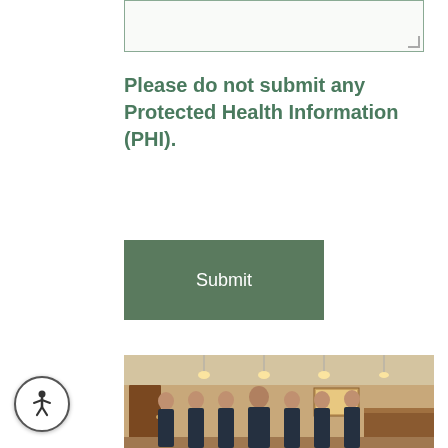Please do not submit any Protected Health Information (PHI).
Submit
[Figure (photo): Group photo of a medical/dental office team — one male doctor in the center surrounded by six female staff members, all wearing dark navy scrubs, standing in a reception area with warm wood tones and pendant lights.]